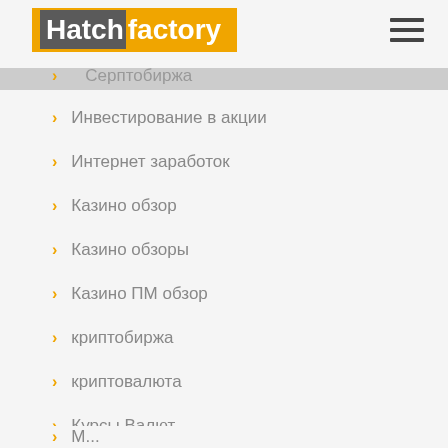Hatchfactory
Инвестирование в акции
Интернет заработок
Казино обзор
Казино обзоры
Казино ПМ обзор
криптобиржа
криптовалюта
Курсы Валют
Маркетинг